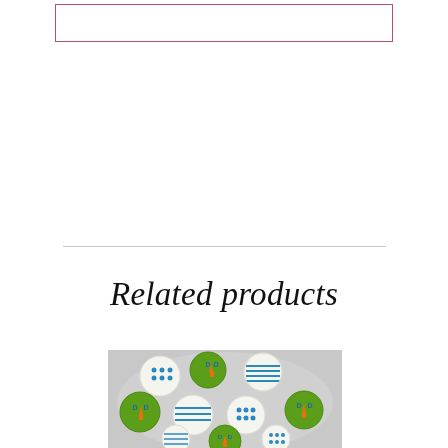[Figure (other): Empty pink/rose bordered rectangle at top of page]
Related products
[Figure (photo): Overhead photo of a round platter of decorated round sugar cookies in cupcake liners. Cookies have green, white backgrounds with blue stripes, blue polka dots, and 'DAD' text with orange neckties decoration.]